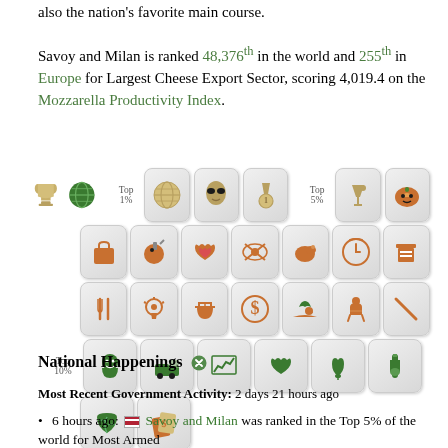also the nation's favorite main course.
Savoy and Milan is ranked 48,376th in the world and 255th in Europe for Largest Cheese Export Sector, scoring 4,019.4 on the Mozzarella Productivity Index.
[Figure (infographic): Icon grid showing various national statistics categories with trophy/globe icons and Top 1%, Top 5%, Top 10% labels]
National Happenings
Most Recent Government Activity: 2 days 21 hours ago
6 hours ago: Savoy and Milan was ranked in the Top 5% of the world for Most Armed